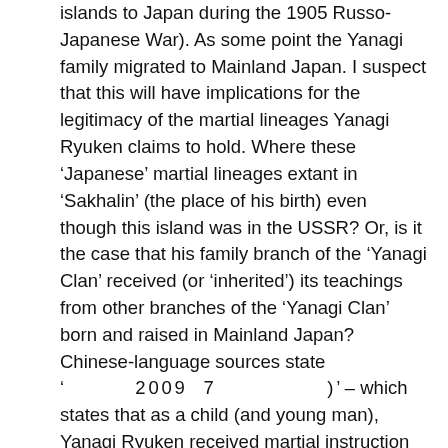islands to Japan during the 1905 Russo-Japanese War). As some point the Yanagi family migrated to Mainland Japan. I suspect that this will have implications for the legitimacy of the martial lineages Yanagi Ryuken claims to hold. Where these ‘Japanese’ martial lineages extant in ‘Sakhalin’ (the place of his birth) even though this island was in the USSR? Or, is it the case that his family branch of the ‘Yanagi Clan’ received (or ‘inherited’) its teachings from other branches of the ‘Yanagi Clan’ born and raised in Mainland Japan? Chinese-language sources state ‘         2009  7              )’ – which states that as a child (and young man), Yanagi Ryuken received martial instruction from ‘Master Kobayashi Dairyu’ (although Yanagi Ryuken cut all ties with Master